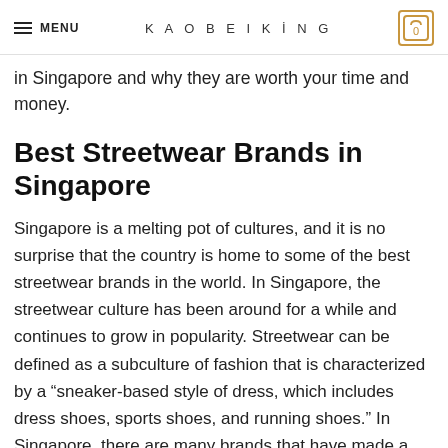MENU | KAOBEIKING | 0
in Singapore and why they are worth your time and money.
Best Streetwear Brands in Singapore
Singapore is a melting pot of cultures, and it is no surprise that the country is home to some of the best streetwear brands in the world. In Singapore, the streetwear culture has been around for a while and continues to grow in popularity. Streetwear can be defined as a subculture of fashion that is characterized by a “sneaker-based style of dress, which includes dress shoes, sports shoes, and running shoes.” In Singapore, there are many brands that have made a name for themselves in the streetwear scene, and these brands are known for their unique designs and innovative marketing. Here are some of the